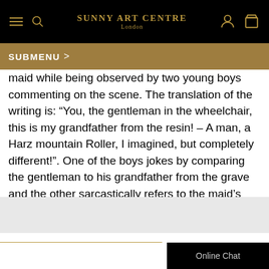SUNNY ART CENTRE London
SUBMENU >
maid while being observed by two young boys commenting on the scene. The translation of the writing is: “You, the gentleman in the wheelchair, this is my grandfather from the resin! – A man, a Harz mountain Roller, I imagined, but completely different!”. One of the boys jokes by comparing the gentleman to his grandfather from the grave and the other sarcastically refers to the maid’s bad singing voice - like a Harz roller (a canary bird).
Online Chat